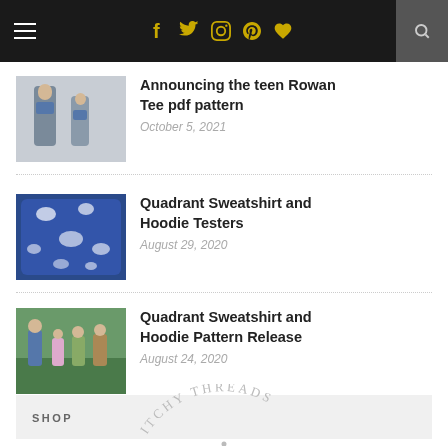Navigation bar with hamburger menu, social icons (f, twitter, instagram, pinterest, heart), and search
[Figure (photo): Two people (adult and child) wearing matching gray Rowan Tee shirts]
Announcing the teen Rowan Tee pdf pattern
October 5, 2021
[Figure (photo): Blue patterned Quadrant Sweatshirt fabric spread out]
Quadrant Sweatshirt and Hoodie Testers
August 29, 2020
[Figure (photo): Group of children standing outdoors in a field]
Quadrant Sweatshirt and Hoodie Pattern Release
August 24, 2020
SHOP
[Figure (illustration): Stitchy Threads watermark logo text arranged in an arc]